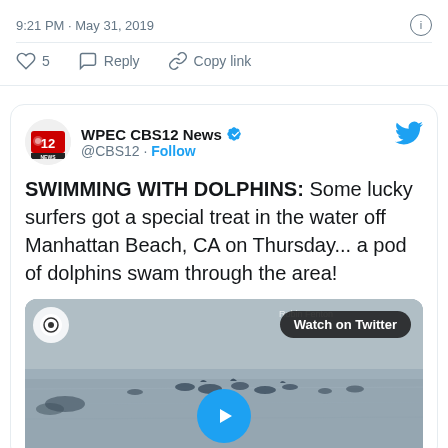9:21 PM · May 31, 2019
♡ 5   Reply   Copy link
WPEC CBS12 News @CBS12 · Follow
SWIMMING WITH DOLPHINS: Some lucky surfers got a special treat in the water off Manhattan Beach, CA on Thursday... a pod of dolphins swam through the area!
[Figure (screenshot): Video thumbnail showing surfers and dolphins in the water off Manhattan Beach, CA, with a 'Watch on Twitter' button overlay and a blue play button at bottom center.]